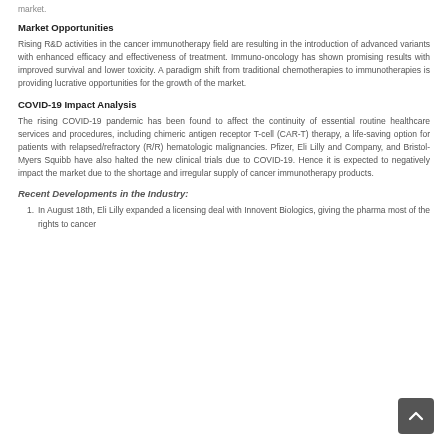market.
Market Opportunities
Rising R&D activities in the cancer immunotherapy field are resulting in the introduction of advanced variants with enhanced efficacy and effectiveness of treatment. Immuno-oncology has shown promising results with improved survival and lower toxicity. A paradigm shift from traditional chemotherapies to immunotherapies is providing lucrative opportunities for the growth of the market.
COVID-19 Impact Analysis
The rising COVID-19 pandemic has been found to affect the continuity of essential routine healthcare services and procedures, including chimeric antigen receptor T-cell (CAR-T) therapy, a life-saving option for patients with relapsed/refractory (R/R) hematologic malignancies. Pfizer, Eli Lilly and Company, and Bristol-Myers Squibb have also halted the new clinical trials due to COVID-19. Hence it is expected to negatively impact the market due to the shortage and irregular supply of cancer immunotherapy products.
Recent Developments in the Industry:
In August 18th, Eli Lilly expanded a licensing deal with Innovent Biologics, giving the pharma most of the rights to cancer